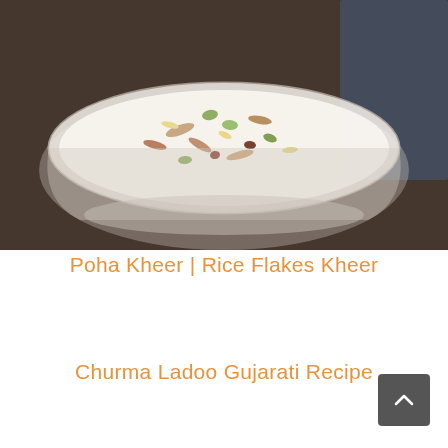[Figure (photo): A glass bowl containing Poha Kheer (rice flakes pudding) garnished with chopped nuts including almonds, pistachios, and other dry fruits, placed on a dark wooden surface with a dark cloth in the background.]
Poha Kheer | Rice Flakes Kheer
Churma Ladoo Gujarati Recipe